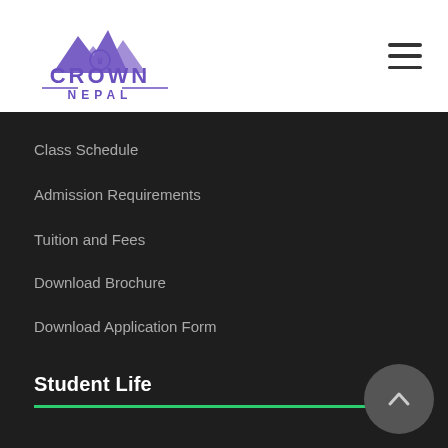[Figure (logo): Crown Nepal logo with mountain peaks and crown emblem in purple color]
Class Schedule
Admission Requirements
Tuition and Fees
Download Brochure
Download Application Form
Student Life